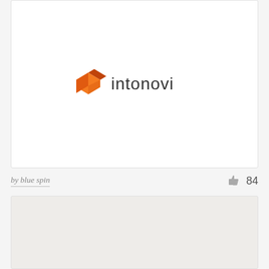[Figure (logo): Intonovi logo shown in the upper card area — orange/red geometric folded shape icon with 'intonovi' text in dark gray sans-serif]
by blue spin
84
[Figure (photo): Second card area with light beige/gray background, partially visible at bottom of page]